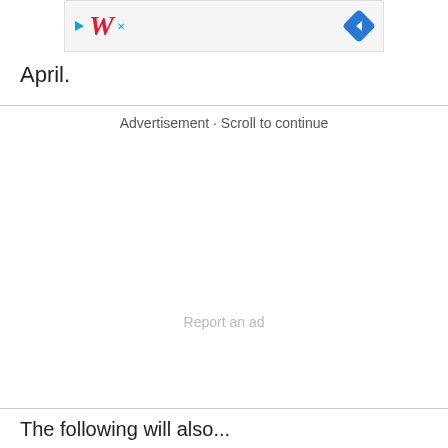[Figure (other): Walgreens advertisement banner with logo (stylized red italic W) and a blue navigation diamond icon on the right. Small play and close (X) icons on the left.]
April.
Advertisement · Scroll to continue
Report an ad
The following will also...